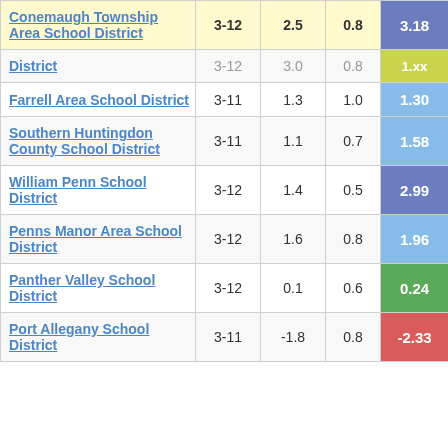| School District | Grades | Col3 | Col4 | Score |
| --- | --- | --- | --- | --- |
| Conemaugh Township Area School District | 3-12 | 2.5 | 0.8 | 3.18 |
| District (cut) | 3-12 | 3.0 | 0.8 | 1.xx |
| Farrell Area School District | 3-11 | 1.3 | 1.0 | 1.30 |
| Southern Huntingdon County School District | 3-11 | 1.1 | 0.7 | 1.58 |
| William Penn School District | 3-12 | 1.4 | 0.5 | 2.99 |
| Penns Manor Area School District | 3-12 | 1.6 | 0.8 | 1.96 |
| Panther Valley School District | 3-12 | 0.1 | 0.6 | 0.24 |
| Port Allegany School District (cut) | 3-11 | -1.8 | 0.8 | -2.33 |